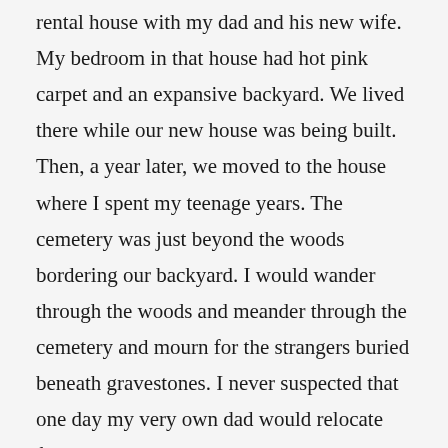rental house with my dad and his new wife. My bedroom in that house had hot pink carpet and an expansive backyard.  We lived there while our new house was being built.  Then, a year later, we moved to the house where I spent my teenage years.  The cemetery was just beyond the woods bordering our backyard.  I would wander through the woods and meander through the cemetery and mourn for the strangers buried beneath gravestones.  I never suspected that one day my very own dad would relocate from our house near the cemetery to the cemetery itself.  I thought we would all live forever, probably in that house decorated in earth tones, that house with the lilac bush in the courtyard, that house almost at the end of the dead end street  You knew it was my house because it was right by the streetlight on the left.